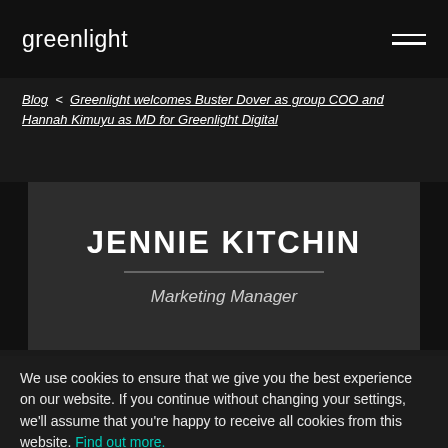greenlight
Blog < Greenlight welcomes Buster Dover as group COO and Hannah Kimuyu as MD for Greenlight Digital
JENNIE KITCHIN
Marketing Manager
We use cookies to ensure that we give you the best experience on our website. If you continue without changing your settings, we'll assume that you're happy to receive all cookies from this website. Find out more.
ACCEPT